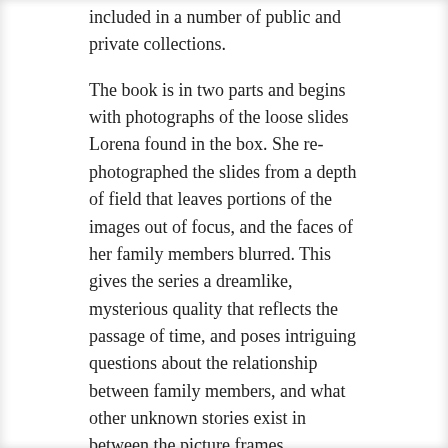included in a number of public and private collections.
The book is in two parts and begins with photographs of the loose slides Lorena found in the box. She re-photographed the slides from a depth of field that leaves portions of the images out of focus, and the faces of her family members blurred. This gives the series a dreamlike, mysterious quality that reflects the passage of time, and poses intriguing questions about the relationship between family members, and what other unknown stories exist in between the picture frames.
Images from Historia, memoria y silencios (Historia, memoria)